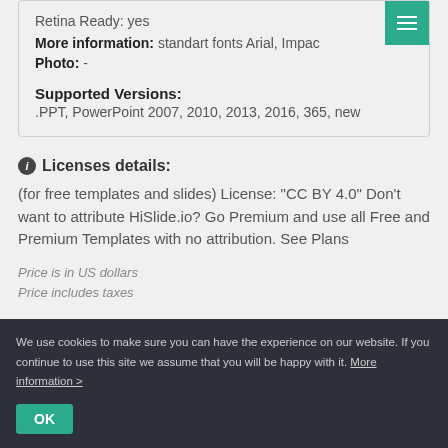Retina Ready: yes
More information: standart fonts Arial, Impac
Photo: -
Supported Versions:
.PPT, PowerPoint 2007, 2010, 2013, 2016, 365, new
Licenses details:
(for free templates and slides) License: "CC BY 4.0" Don't want to attribute HiSlide.io? Go Premium and use all Free and Premium Templates with no attribution. See Plans
Price is in US dollars
Price includes taxes
We use cookies to make sure you can have the experience on our website. If you continue to use this site we assume that you will be happy with it. More information >